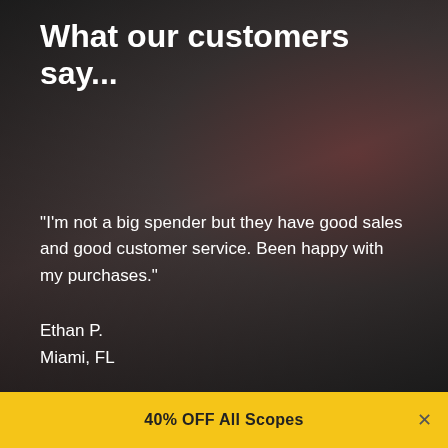What our customers say...
"I'm not a big spender but they have good sales and good customer service. Been happy with my purchases."
Ethan P.
Miami, FL
40% OFF All Scopes